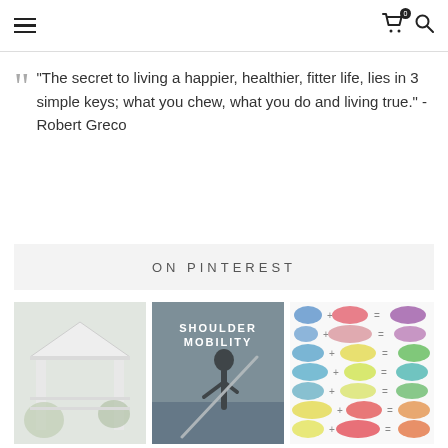Navigation bar with hamburger menu, cart icon (badge: 0), and search icon
"The secret to living a happier, healthier, fitter life, lies in 3 simple keys; what you chew, what you do and living true." - Robert Greco
ON PINTEREST
[Figure (photo): Photo of an outdoor covered patio/gazebo with white columns and green plants, faded/light overlay]
[Figure (photo): Photo of a person doing shoulder mobility exercise with a pole/bar, text overlay reads SHOULDER MOBILITY]
[Figure (infographic): Color mixing chart showing paint color swatches with plus signs and equals signs, colorful pastel combinations]